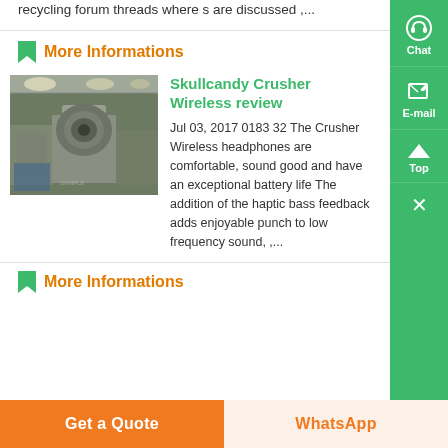recycling forum threads where s are discussed ,...
More Informations
[Figure (photo): Industrial machinery or crusher equipment in a factory setting, grayscale/dark tone photo]
Skullcandy Crusher Wireless review
Jul 03, 2017 0183 32 The Crusher Wireless headphones are comfortable, sound good and have an exceptional battery life The addition of the haptic bass feedback adds enjoyable punch to low frequency sound, ,...
More Informations